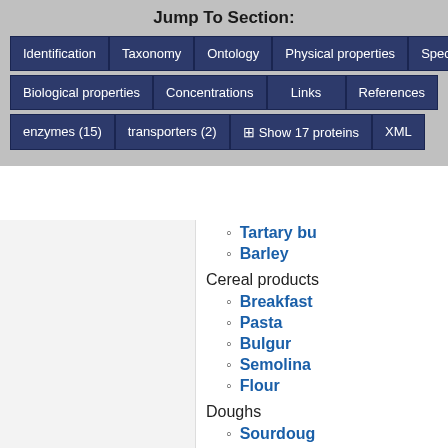Jump To Section:
Identification | Taxonomy | Ontology | Physical properties | Spectra | Biological properties | Concentrations | Links | References | enzymes (15) | transporters (2) | Show 17 proteins | XML
Tartary bu
Barley
Cereal products
Breakfast
Pasta
Bulgur
Semolina
Flour
Doughs
Sourdoug
Leavened breads
Zwieback